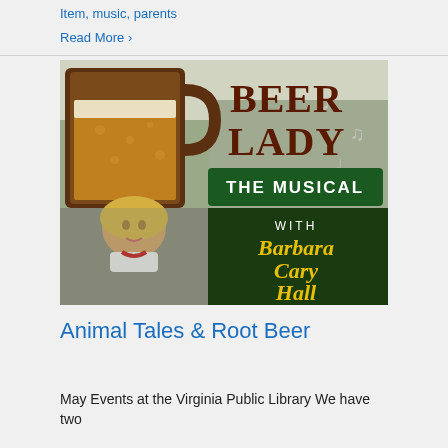Item, music, parents
Read More ›
[Figure (photo): Promotional image for 'Beer Lady: The Musical' with Barbara Cary Hall, showing a beer mug, musical notes, forest/outdoor background, and a woman with blonde hair. Text reads: BEER LADY THE MUSICAL WITH Barbara Cary Hall]
Animal Tales & Root Beer
May Events at the Virginia Public Library We have two